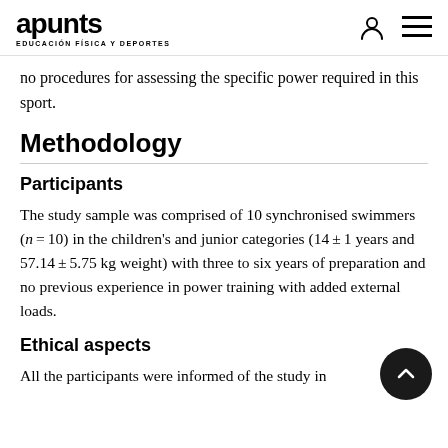apunts EDUCACIÓN FÍSICA Y DEPORTES
no procedures for assessing the specific power required in this sport.
Methodology
Participants
The study sample was comprised of 10 synchronised swimmers (n = 10) in the children's and junior categories (14 ± 1 years and 57.14 ± 5.75 kg weight) with three to six years of preparation and no previous experience in power training with added external loads.
Ethical aspects
All the participants were informed of the study in